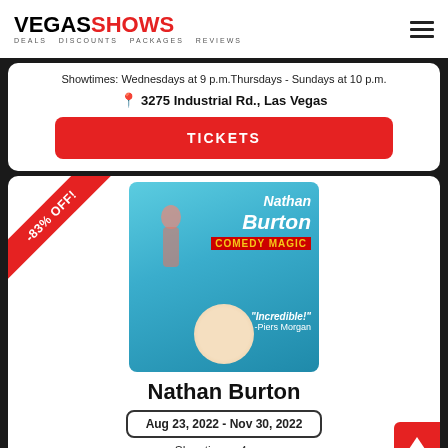VEGASSHOWS - DEALS DISCOUNTS PACKAGES REVIEWS
Showtimes: Wednesdays at 9 p.m.Thursdays - Sundays at 10 p.m.
3275 Industrial Rd., Las Vegas
TICKETS
[Figure (photo): Nathan Burton Comedy Magic promotional image with performer hanging upside down and showgirls in background on blue background with text 'Incredible!' -Piers Morgan]
Nathan Burton
Aug 23, 2022 - Nov 30, 2022
Showtimes: 4 p.m.